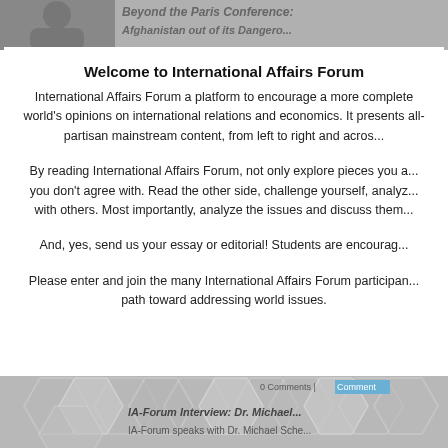[Figure (screenshot): Background of website page showing a banner with italic bold title text 'Beyond the Paris Conference:' and 'Afghanistan out of its Dangero...' in gray tones, with a person silhouette on left.]
Welcome to International Affairs Forum
International Affairs Forum a platform to encourage a more complete world's opinions on international relations and economics. It presents all-partisan mainstream content, from left to right and acros...
By reading International Affairs Forum, not only explore pieces you a... you don't agree with. Read the other side, challenge yourself, analyz... with others. Most importantly, analyze the issues and discuss them...
And, yes, send us your essay or editorial! Students are encourag...
Please enter and join the many International Affairs Forum participan... path toward addressing world issues.
[Figure (screenshot): Bottom background showing hexagonal metallic shapes in gray/silver tones, with text 'IA-Forum Interview: Dr. Michael Sche...' and 'IA-Forum speaks with Dr. Michael Sche...' overlaid, plus a '0 Comments | Comment' bar.]